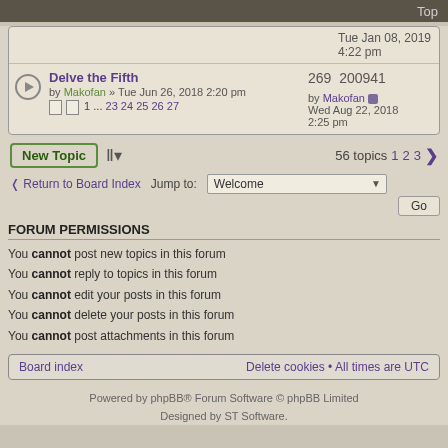Top
Tue Jan 08, 2019 4:22 pm
Delve the Fifth by Makofan » Tue Jun 26, 2018 2:20 pm 1 ... 23 24 25 26 27 | 269 200941 by Makofan Wed Aug 22, 2018 2:25 pm
New Topic | 56 topics 1 2 3 >
< Return to Board Index   Jump to: Welcome   Go
FORUM PERMISSIONS
You cannot post new topics in this forum
You cannot reply to topics in this forum
You cannot edit your posts in this forum
You cannot delete your posts in this forum
You cannot post attachments in this forum
Board index   Delete cookies • All times are UTC
Powered by phpBB® Forum Software © phpBB Limited Designed by ST Software.